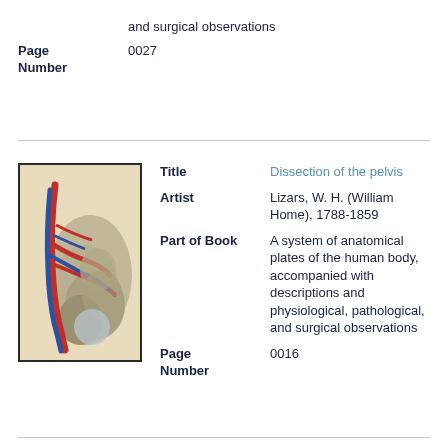and surgical observations
Page Number: 0027
[Figure (illustration): Anatomical illustration showing a dissection of the pelvis with colored vessels (red and blue arteries/veins) against gray anatomical structures on a beige background.]
Title: Dissection of the pelvis
Artist: Lizars, W. H. (William Home), 1788-1859
Part of Book: A system of anatomical plates of the human body, accompanied with descriptions and physiological, pathological, and surgical observations
Page Number: 0016